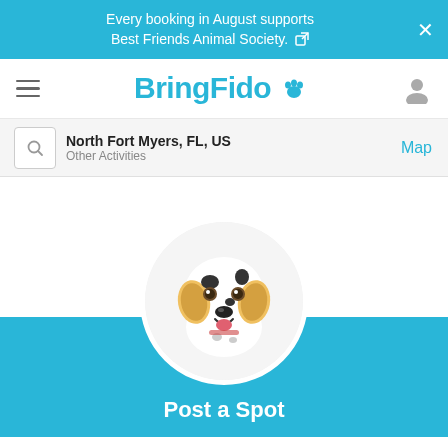Every booking in August supports Best Friends Animal Society.
[Figure (logo): BringFido logo with paw print icon in teal/blue color]
North Fort Myers, FL, US
Other Activities
Map
[Figure (photo): A happy Dalmatian dog with white and black spotted fur, smiling with mouth open, displayed in a circular cropped frame]
Post a Spot